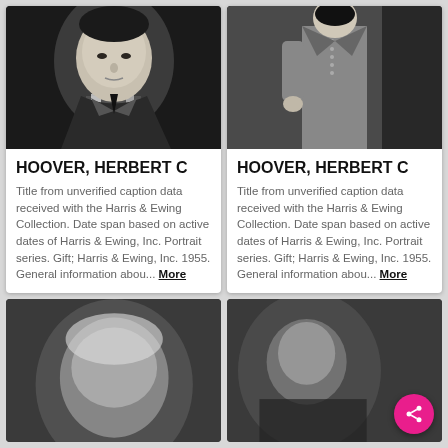[Figure (photo): Black and white portrait photo of Herbert C Hoover, close-up of face and suit, left card]
[Figure (photo): Black and white photo of Herbert C Hoover, full body standing in suit, right card]
HOOVER, HERBERT C
Title from unverified caption data received with the Harris & Ewing Collection. Date span based on active dates of Harris & Ewing, Inc. Portrait series. Gift; Harris & Ewing, Inc. 1955. General information abou... More
HOOVER, HERBERT C
Title from unverified caption data received with the Harris & Ewing Collection. Date span based on active dates of Harris & Ewing, Inc. Portrait series. Gift; Harris & Ewing, Inc. 1955. General information abou... More
[Figure (photo): Black and white blurred photo, bottom left, older man]
[Figure (photo): Black and white blurred photo, bottom right, man in suit with share button overlay]